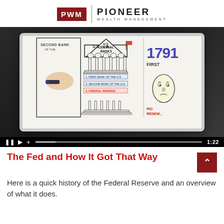[Figure (logo): PWM Pioneer Wealth Management logo with red PWM box and PIONEER WEALTH MANAGEMENT text]
[Figure (screenshot): Video player showing whiteboard animation about the Federal Reserve history, with playback controls showing time 1:22]
The Fed and How It Got That Way
Here is a quick history of the Federal Reserve and an overview of what it does.